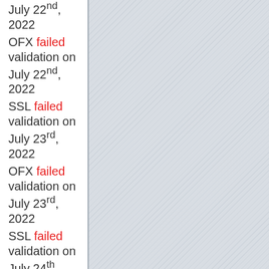July 22nd, 2022
OFX failed validation on July 22nd, 2022
SSL failed validation on July 23rd, 2022
OFX failed validation on July 23rd, 2022
SSL failed validation on July 24th, 2022
OFX failed